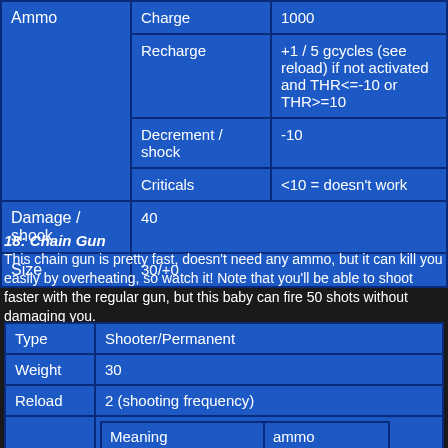|  | Sub-field | Value |
| --- | --- | --- |
| Ammo | Charge | 1000 |
| Ammo | Recharge | +1 / 5 gcycles (see reload) if not activated and THR<=-10 or THR>=10 |
| Ammo | Decrement / shock | -10 |
| Ammo | Criticals | <10 = doesn't work |
| Damage / shock | 40 |  |
| Size | 30/+0 |  |
18: Chain Gun
This chain gun is pretty fast, doesn't need any ammo, but it can kill you easily by overheating, so watch it! Note that you'll be able to shoot faster with the regular gun, but this baby can fire 50 shots without damaging you.
| Type | Shooter/Permanent |
| --- | --- |
| Weight | 30 |
| Reload | 2 (shooting frequency) |
|  | Meaning | ammo
Damage | 100 |